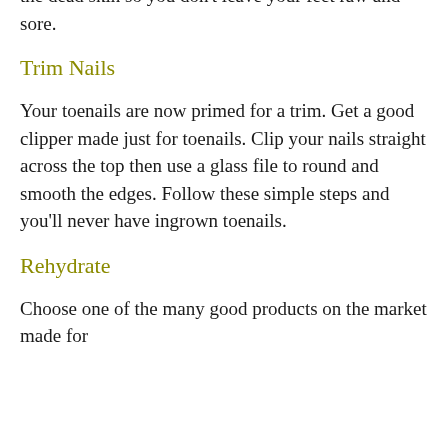the dead skin so you don't leave your feet raw and sore.
Trim Nails
Your toenails are now primed for a trim. Get a good clipper made just for toenails. Clip your nails straight across the top then use a glass file to round and smooth the edges. Follow these simple steps and you'll never have ingrown toenails.
Rehydrate
Choose one of the many good products on the market made for rehydrating the skin of your feet...